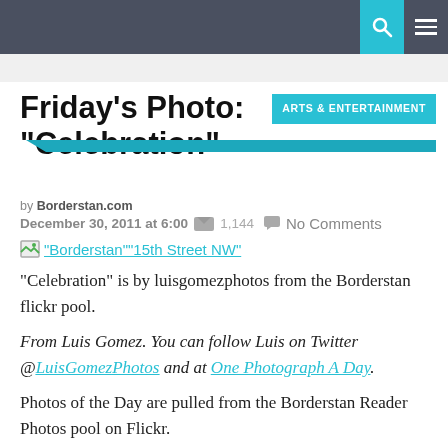Friday's Photo: "Celebration"
ARTS & ENTERTAINMENT
by Borderstan.com
December 30, 2011 at 6:00 am 1,144  No Comments
[Figure (photo): Broken image thumbnail linking to Borderstan 15th Street NW photo]
"Borderstan""15th Street NW"
"Celebration" is by luisgomezphotos from the Borderstan flickr pool.
From Luis Gomez. You can follow Luis on Twitter @LuisGomezPhotos and at One Photograph A Day.
Photos of the Day are pulled from the Borderstan Reader Photos pool on Flickr.